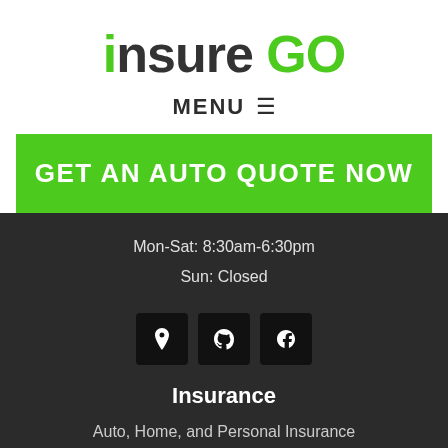[Figure (logo): insureGO logo with 'insure' in dark gray and 'GO' in green with a dot above the 'O']
MENU ≡
GET AN AUTO QUOTE NOW
Mon-Sat: 8:30am-6:30pm
Sun: Closed
[Figure (infographic): Three social/map icon boxes: map pin icon, Yelp icon, Facebook icon]
Insurance
Auto, Home, and Personal Insurance